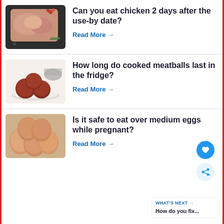[Figure (photo): Raw chicken on dark surface with tomatoes and rosemary]
Can you eat chicken 2 days after the use-by date?
Read More →
[Figure (photo): Cooked meatballs on a white plate with a pot in background]
How long do cooked meatballs last in the fridge?
Read More →
[Figure (photo): Brown eggs clustered together on a woven surface]
Is it safe to eat over medium eggs while pregnant?
Read More →
WHAT'S NEXT → How do you fix...